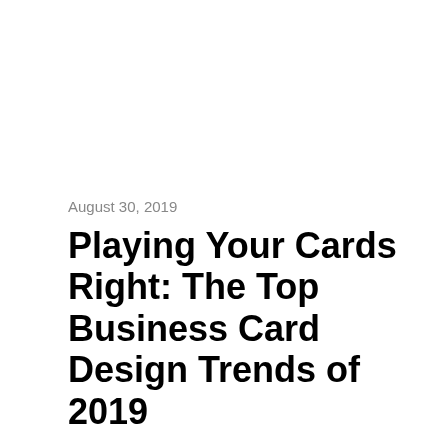August 30, 2019
Playing Your Cards Right: The Top Business Card Design Trends of 2019
Business cards are still one of the most effective branding and business development tools for your business, even in this age of digital marketing. At networking events and conferences, you want to